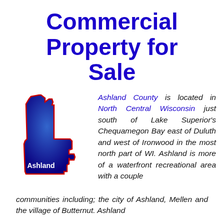Commercial Property for Sale
[Figure (map): Blue silhouette map of Ashland County, Wisconsin with red border outline and 'Ashland' label in white text at the bottom]
Ashland County is located in North Central Wisconsin just south of Lake Superior's Chequamegon Bay east of Duluth and west of Ironwood in the most north part of WI. Ashland is more of a waterfront recreational area with a couple communities including; the city of Ashland, Mellen and the village of Butternut. Ashland